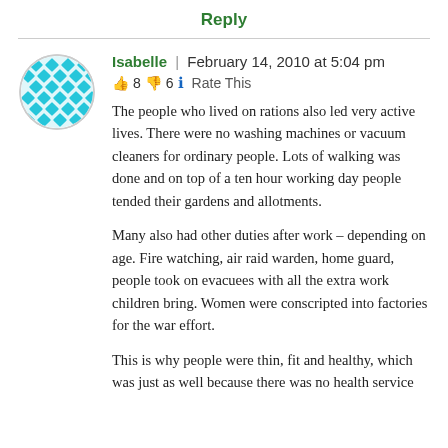Reply
Isabelle | February 14, 2010 at 5:04 pm
👍 8 👎 6 ℹ Rate This
The people who lived on rations also led very active lives. There were no washing machines or vacuum cleaners for ordinary people. Lots of walking was done and on top of a ten hour working day people tended their gardens and allotments.
Many also had other duties after work – depending on age. Fire watching, air raid warden, home guard, people took on evacuees with all the extra work children bring. Women were conscripted into factories for the war effort.
This is why people were thin, fit and healthy, which was just as well because there was no health service